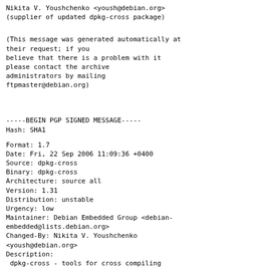Nikita V. Youshchenko <yoush@debian.org>
(supplier of updated dpkg-cross package)
(This message was generated automatically at
their request; if you
believe that there is a problem with it
please contact the archive
administrators by mailing
ftpmaster@debian.org)
-----BEGIN PGP SIGNED MESSAGE-----
Hash: SHA1
Format: 1.7
Date: Fri, 22 Sep 2006 11:09:36 +0400
Source: dpkg-cross
Binary: dpkg-cross
Architecture: source all
Version: 1.31
Distribution: unstable
Urgency: low
Maintainer: Debian Embedded Group <debian-
embedded@lists.debian.org>
Changed-By: Nikita V. Youshchenko
<yoush@debian.org>
Description:
 dpkg-cross - tools for cross compiling
Debian packages
Closes: 388627